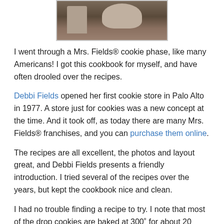[Figure (photo): Photo of cookies or food items on a wooden surface, partially cropped at top of page]
I went through a Mrs. Fields® cookie phase, like many Americans! I got this cookbook for myself, and have often drooled over the recipes.
Debbi Fields opened her first cookie store in Palo Alto in 1977. A store just for cookies was a new concept at the time. And it took off, as today there are many Mrs. Fields® franchises, and you can purchase them online.
The recipes are all excellent, the photos and layout great, and Debbi Fields presents a friendly introduction. I tried several of the recipes over the years, but kept the cookbook nice and clean.
I had no trouble finding a recipe to try. I note that most of the drop cookies are baked at 300˚ for about 20 minutes. Most of my personal cookie recipes call for a 375˚ oven for about 10 minutes. Mrs. Fields® recipes call for butter